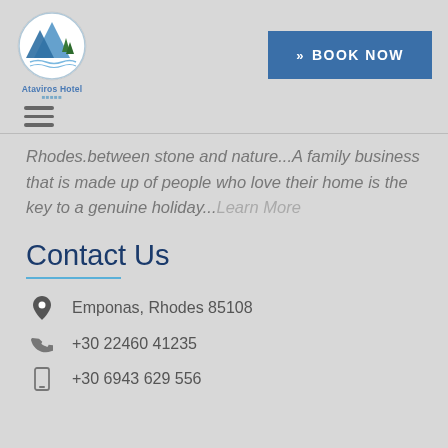[Figure (logo): Ataviros Hotel logo: circular emblem with mountain and trees imagery, blue and green colors]
Ataviros Hotel
>> BOOK NOW
[Figure (other): Hamburger menu icon (three horizontal lines)]
Rhodes.between stone and nature...A family business that is made up of people who love their home is the key to a genuine holiday...Learn More
Contact Us
Emponas, Rhodes 85108
+30 22460 41235
+30 6943 629 556